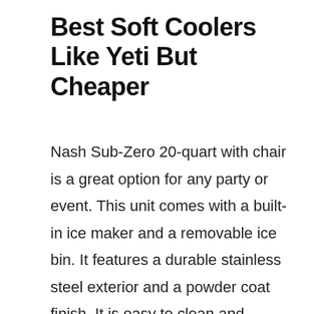Best Soft Coolers Like Yeti But Cheaper
Nash Sub-Zero 20-quart with chair is a great option for any party or event. This unit comes with a built-in ice maker and a removable ice bin. It features a durable stainless steel exterior and a powder coat finish. It is easy to clean and maintain. It is equipped with a full range of controls and features. It includes a